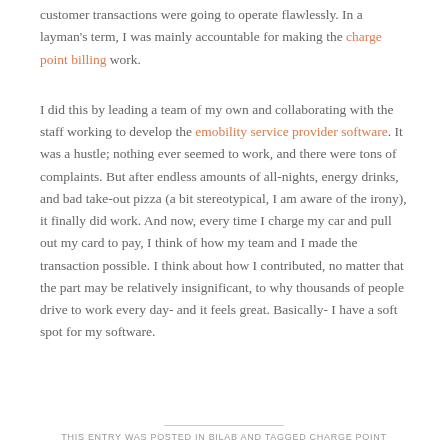customer transactions were going to operate flawlessly. In a layman's term, I was mainly accountable for making the charge point billing work.
I did this by leading a team of my own and collaborating with the staff working to develop the emobility service provider software. It was a hustle; nothing ever seemed to work, and there were tons of complaints. But after endless amounts of all-nights, energy drinks, and bad take-out pizza (a bit stereotypical, I am aware of the irony), it finally did work. And now, every time I charge my car and pull out my card to pay, I think of how my team and I made the transaction possible. I think about how I contributed, no matter that the part may be relatively insignificant, to why thousands of people drive to work every day- and it feels great. Basically- I have a soft spot for my software.
THIS ENTRY WAS POSTED IN BILAB AND TAGGED CHARGE POINT